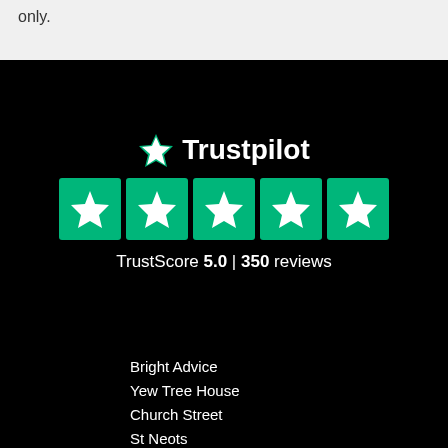only.
[Figure (logo): Trustpilot logo with green star icon and white text 'Trustpilot', five green star rating boxes below, and 'TrustScore 5.0 | 350 reviews' text]
Bright Advice
Yew Tree House
Church Street
St Neots
PE19 2BU
01480 22 22 80
info@brightadvice.co.uk
Privacy Policy